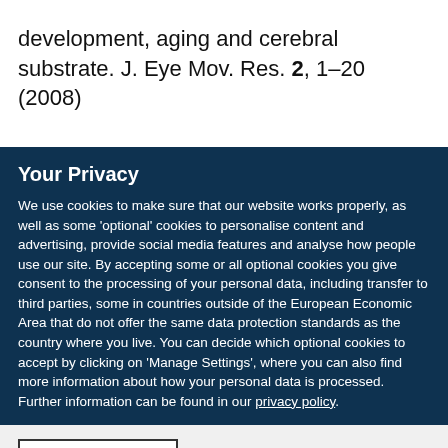development, aging and cerebral substrate. J. Eye Mov. Res. 2, 1–20 (2008)
Your Privacy
We use cookies to make sure that our website works properly, as well as some 'optional' cookies to personalise content and advertising, provide social media features and analyse how people use our site. By accepting some or all optional cookies you give consent to the processing of your personal data, including transfer to third parties, some in countries outside of the European Economic Area that do not offer the same data protection standards as the country where you live. You can decide which optional cookies to accept by clicking on 'Manage Settings', where you can also find more information about how your personal data is processed. Further information can be found in our privacy policy.
Accept all cookies
Manage preferences